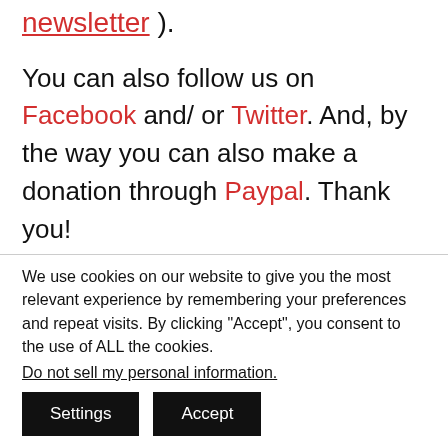newsletter ).
You can also follow us on Facebook and/ or Twitter. And, by the way you can also make a donation through Paypal. Thank you!
You should really subscribe to QFiles. You will get very interesting information about strange events around the world.
We use cookies on our website to give you the most relevant experience by remembering your preferences and repeat visits. By clicking “Accept”, you consent to the use of ALL the cookies.
Do not sell my personal information.
Settings    Accept